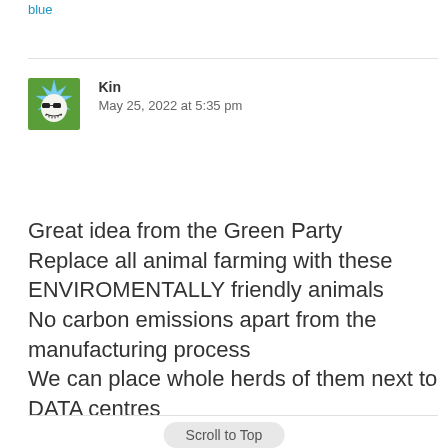blue
Kin
May 25, 2022 at 5:35 pm
Great idea from the Green Party
Replace all animal farming with these
ENVIROMENTALLY friendly animals
No carbon emissions apart from the manufacturing process
We can place whole herds of them next to DATA centres
Scroll to Top